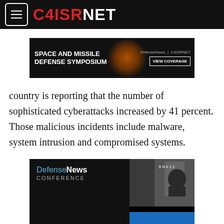[Figure (logo): C4ISRNET website header with hamburger menu and logo on black background]
[Figure (screenshot): Advertisement banner: Space and Missile Defense Symposium - DefenseNews | C4ISRNET - VIEW COVERAGE button]
country is reporting that the number of sophisticated cyberattacks increased by 41 percent. Those malicious incidents include malware, system intrusion and compromised systems.
[Figure (screenshot): Advertisement banner: DefenseNews Conference - THE FUTURE (partially visible), with military photo]